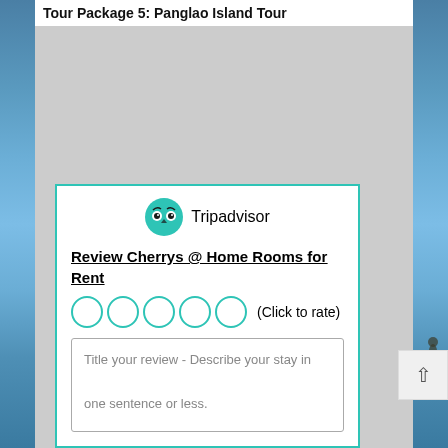Tour Package 5: Panglao Island Tour
[Figure (photo): Beach/island scene with blue sky and ocean in background, grey content area in center, silhouette of people on right edge]
[Figure (logo): Tripadvisor logo with owl icon]
Review Cherrys @ Home Rooms for Rent
(Click to rate)
Title your review - Describe your stay in one sentence or less.